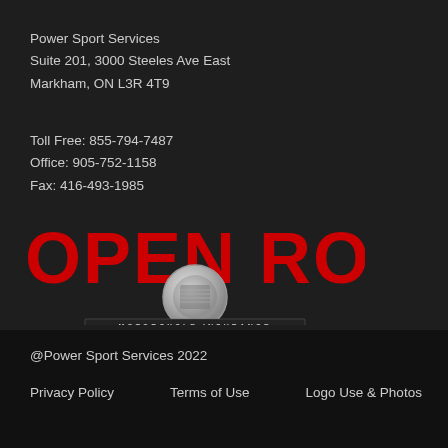Power Sport Services
Suite 201, 3000 Steeles Ave East
Markham, ON L3R 4T9
Toll Free: 855-794-7487
Office: 905-752-1158
Fax: 416-493-1985
[Figure (logo): Open Road Motorcycle Insurance logo — large red bold text 'OPEN ROAD' with a circular chrome badge/emblem below containing 'MOTORCYCLE INSURANCE' in small caps, flanked by horizontal chrome bars]
@Power Sport Services 2022
Privacy Policy    Terms of Use    Logo Use & Photos